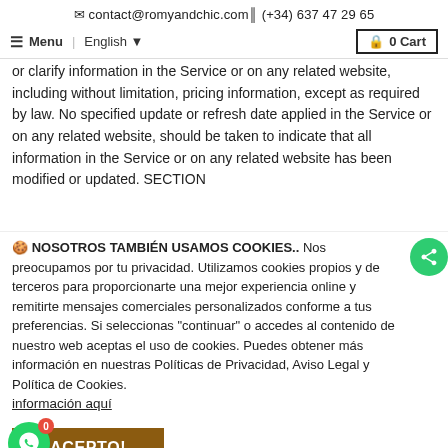✉ contact@romyandchic.com  (+34) 637 47 29 65
≡ Menu  |  English ▼   🔒 0 Cart
or clarify information in the Service or on any related website, including without limitation, pricing information, except as required by law. No specified update or refresh date applied in the Service or on any related website, should be taken to indicate that all information in the Service or on any related website has been modified or updated. SECTION
🍪 NOSOTROS TAMBIÉN USAMOS COOKIES.. Nos preocupamos por tu privacidad. Utilizamos cookies propios y de terceros para proporcionarte una mejor experiencia online y remitirte mensajes comerciales personalizados conforme a tus preferencias. Si seleccionas "continuar" o accedes al contenido de nuestro web aceptas el uso de cookies. Puedes obtener más información en nuestras Políticas de Privacidad, Aviso Legal y Política de Cookies. información aquí
ACEPTO!